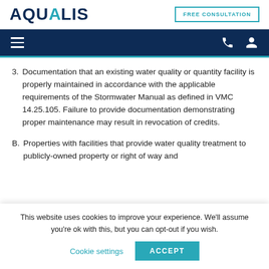AQUALIS | FREE CONSULTATION
3. Documentation that an existing water quality or quantity facility is properly maintained in accordance with the applicable requirements of the Stormwater Manual as defined in VMC 14.25.105. Failure to provide documentation demonstrating proper maintenance may result in revocation of credits.
B. Properties with facilities that provide water quality treatment to publicly-owned property or right of way and
This website uses cookies to improve your experience. We'll assume you're ok with this, but you can opt-out if you wish.
Cookie settings  ACCEPT